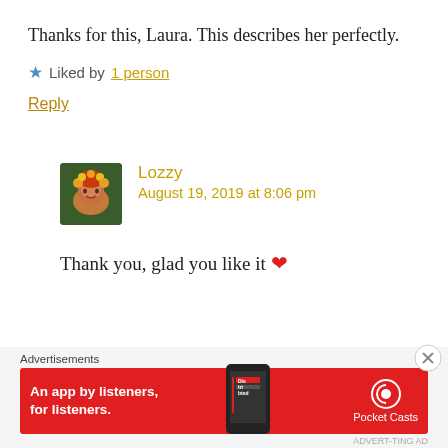Thanks for this, Laura. This describes her perfectly.
★ Liked by 1 person
Reply
Lozzy
August 19, 2019 at 8:06 pm
Thank you, glad you like it ❤
Advertisements
[Figure (infographic): Pocket Casts app advertisement banner in red with text 'An app by listeners, for listeners.' and phone image]